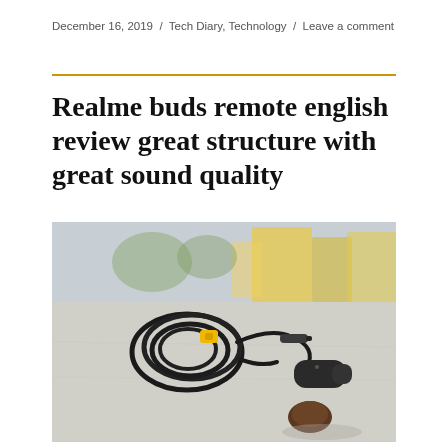December 16, 2019 / Tech Diary, Technology / Leave a comment
Realme buds remote english review great structure with great sound quality
[Figure (photo): Realme earbuds with black cable coiled on a concrete surface, yellow cable management clip visible, 3.5mm jack plug, and black in-ear earphone tip in foreground. Blurred urban background.]